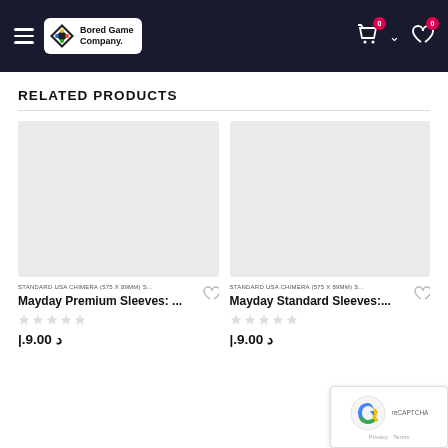BoredGame Company. Navigation header with cart (0) and wishlist (0)
RELATED PRODUCTS
[Figure (photo): Product image placeholder (light grey box) for Mayday Premium Sleeves]
STANDARD USA CHIMERA (575 X 89MM) S...
Mayday Premium Sleeves: ...
د.إ 9.00
[Figure (photo): Product image placeholder (light grey box) for Mayday Standard Sleeves]
STANDARD USA CHIMERA (575 X 89MM) S...
Mayday Standard Sleeves:...
د.إ 9.00